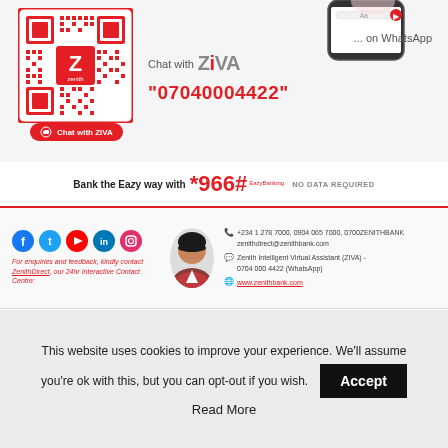[Figure (infographic): Zenith Bank ZIVA WhatsApp chatbot advertisement with QR code, phone mockup, ZIVA logo, and phone number 07040004422. Chat with ZIVA button shown.]
Bank the Eazy way with *966# EazyBanking NO DATA REQUIRED
+234 1 278 7000, 0904 065 7000, 0700ZENITHBANK zenithdirect@zenithbank.com Zenith Intelligent Virtual Assistant (ZIVA) - 0704 000 4422 (WhatsApp) www.zenithbank.com
For enquiries and feedback, kindly contact ZenithDirect, our 24hr Interactive Contact Centre:
TRENDING POSTS
This website uses cookies to improve your experience. We'll assume you're ok with this, but you can opt-out if you wish.
Accept
Read More